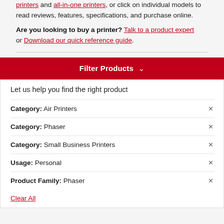printers and all-in-one printers, or click on individual models to read reviews, features, specifications, and purchase online.
Are you looking to buy a printer? Talk to a product expert or Download our quick reference guide.
Filter Products
Let us help you find the right product
Category: Air Printers
Category: Phaser
Category: Small Business Printers
Usage: Personal
Product Family: Phaser
Clear All